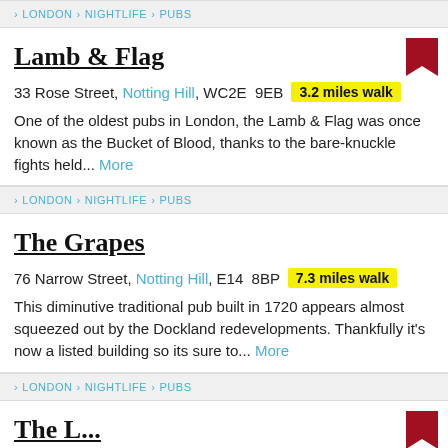> LONDON > NIGHTLIFE > PUBS
Lamb & Flag
33 Rose Street, Notting Hill, WC2E  9EB  3.2 miles walk
One of the oldest pubs in London, the Lamb & Flag was once known as the Bucket of Blood, thanks to the bare-knuckle fights held... More
> LONDON > NIGHTLIFE > PUBS
The Grapes
76 Narrow Street, Notting Hill, E14  8BP  7.3 miles walk
This diminutive traditional pub built in 1720 appears almost squeezed out by the Dockland redevelopments. Thankfully it's now a listed building so its sure to... More
> LONDON > NIGHTLIFE > PUBS
The L...